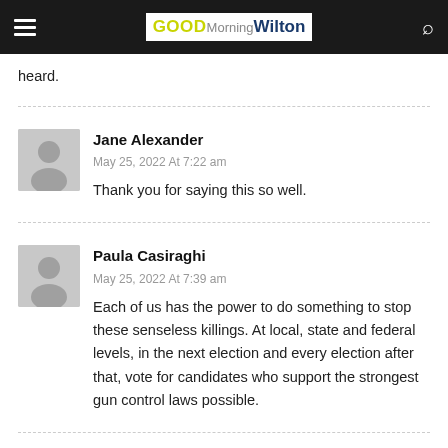GOOD Morning Wilton
heard.
Jane Alexander
May 25, 2022 At 7:22 am
Thank you for saying this so well.
Paula Casiraghi
May 25, 2022 At 7:39 am
Each of us has the power to do something to stop these senseless killings. At local, state and federal levels, in the next election and every election after that, vote for candidates who support the strongest gun control laws possible.